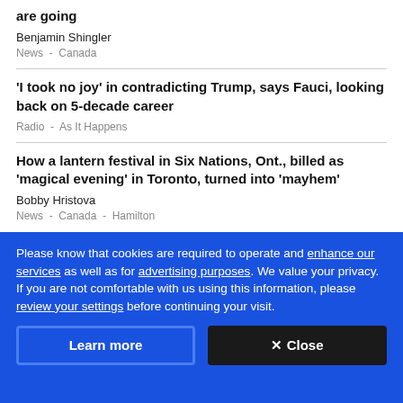are going
Benjamin Shingler
News  -  Canada
'I took no joy' in contradicting Trump, says Fauci, looking back on 5-decade career
Radio  -  As It Happens
How a lantern festival in Six Nations, Ont., billed as 'magical evening' in Toronto, turned into 'mayhem'
Bobby Hristova
News  -  Canada  -  Hamilton
Please know that cookies are required to operate and enhance our services as well as for advertising purposes. We value your privacy. If you are not comfortable with us using this information, please review your settings before continuing your visit.